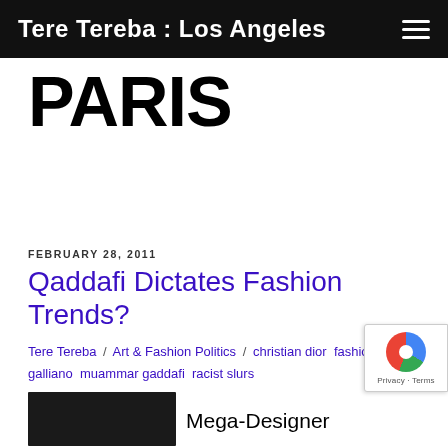Tere Tereba : Los Angeles
PARIS
FEBRUARY 28, 2011
Qaddafi Dictates Fashion Trends?
Tere Tereba / Art & Fashion Politics / christian dior fashion john galliano muammar gaddafi racist slurs
Mega-Designer